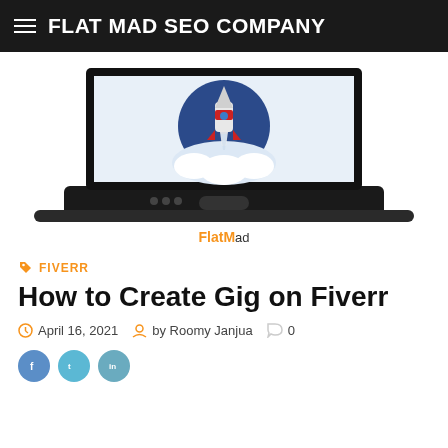FLAT MAD SEO COMPANY
[Figure (illustration): Laptop computer displaying a rocket launch illustration inside a circular badge with clouds. Below the laptop is the FlatMad brand logo text.]
FIVERR
How to Create Gig on Fiverr
April 16, 2021  by Roomy Janjua  0